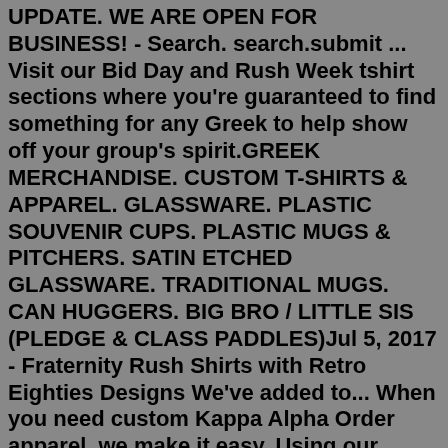UPDATE. WE ARE OPEN FOR BUSINESS! - Search. search.submit ... Visit our Bid Day and Rush Week tshirt sections where you're guaranteed to find something for any Greek to help show off your group's spirit.GREEK MERCHANDISE. CUSTOM T-SHIRTS & APPAREL. GLASSWARE. PLASTIC SOUVENIR CUPS. PLASTIC MUGS & PITCHERS. SATIN ETCHED GLASSWARE. TRADITIONAL MUGS. CAN HUGGERS. BIG BRO / LITTLE SIS (PLEDGE & CLASS PADDLES)Jul 5, 2017 - Fraternity Rush Shirts with Retro Eighties Designs We've added to... When you need custom Kappa Alpha Order apparel, we make it easy. Using our online Design Studio, you can upload your artwork and imagery or use our premade templates. Have fun designing your shirt, and then select from our many delivery options to get your shirts when you need them. Lastly, we feature a satisfaction guarantee to ensure that ... Sale. Fraternity/Sorority Deluxe Custom Crossing Jersey: Includes Front Letters, Left Sleeve Text, Right Sleeve Text, Back Line Name, Back